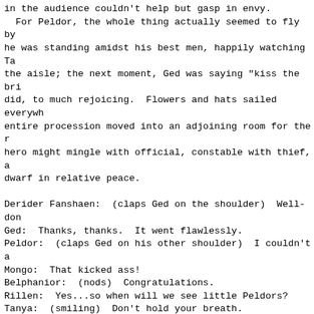in the audience couldn't help but gasp in envy.
  For Peldor, the whole thing actually seemed to fly by he was standing amidst his best men, happily watching Ta the aisle; the next moment, Ged was saying "kiss the bri did, to much rejoicing.  Flowers and hats sailed everywh entire procession moved into an adjoining room for the r hero might mingle with official, constable with thief, a dwarf in relative peace.

Derider Fanshaen:  (claps Ged on the shoulder)  Well-don
Ged:  Thanks, thanks.  It went flawlessly.
Peldor:  (claps Ged on his other shoulder)  I couldn't a
Mongo:  That kicked ass!
Belphanior:  (nods)  Congratulations.
Rillen:  Yes...so when will we see little Peldors?
Tanya:  (smiling)  Don't hold your breath.
Nenya:  Maybe not before you see little Derycks.
Deryck:  (laughs)  Ha, ha.  Very funny.  We'll see.
Bosco:  Been busy, huh?  (he begins looking for Derider,
  this group anymore)
Leonardo:  (wandering around, checking out all of his fo
  been set up on numerous tables, for the guests)  Ay, a
  feast commences!
Peldor:  Good job, Leo.  It's splendid.
Alindyar:  (nods as he tries a pastry)  Verily, splendo
Leonardo:  (moves on, happily, gauging various peoples'
  his creations)
Bosco:  (gorging himself at every opportunity)  Mmm.
Peyote:  (still looking for mushrooms)  Aw, man...
Otto:  I doubt we'll find any oysters here, either.
Bosco:  Maybe, but there is something else...